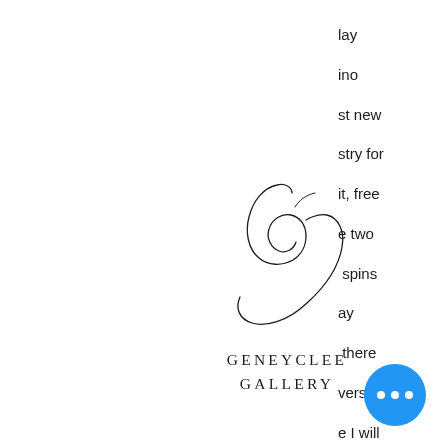[Figure (logo): Geneyclee Gallery logo — stylized cursive 'g' script mark above the text GENEYCLEE GALLERY in spaced serif capitals]
[Figure (other): Hamburger menu icon — two horizontal parallel lines]
lay
ino
st new
stry for
it, free
e two
spins
ay
there
vers.
e I will
the
mobile
oy the
famed Studio 54 Casa Calavera, the Hard Rock Hotel and Casino took its fi nal bow in February 2021, slot machines in waterford. Hallmark Casino Banking Methods, free huuuge bitcoin casino chips. While Hallmark Casino does offer a variety of banking options, when it comes to deposits and